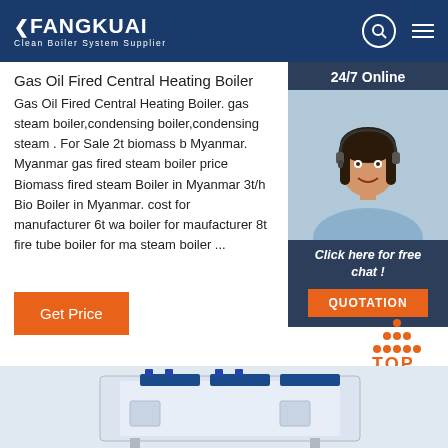FANGKUAI Clean Boiler System Supplier
Gas Oil Fired Central Heating Boiler
Gas Oil Fired Central Heating Boiler. gas steam boiler,condensing boiler,condensing steam . For Sale 2t biomass boiler Myanmar. Myanmar gas fired steam boiler price Biomass fired steam Boiler in Myanmar 3t/h Bio Boiler in Myanmar. cost for manufacturer 6t water boiler for maufacturer 8t fire tube boiler for ma steam boiler ...
[Figure (photo): Customer service agent woman wearing headset, 24/7 Online chat widget with QUOTATION button]
24/7 Online
Click here for free chat !
QUOTATION
Get Price
[Figure (logo): TOP navigation button with orange dots arranged in triangle above the word TOP in orange text]
[Figure (photo): Industrial boiler equipment image at bottom of page]